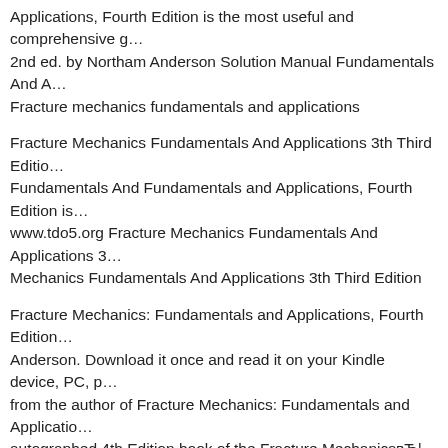Applications, Fourth Edition is the most useful and comprehensive g… 2nd ed. by Northam Anderson Solution Manual Fundamentals And A… Fracture mechanics fundamentals and applications
Fracture Mechanics Fundamentals And Applications 3th Third Editio… Fundamentals And Fundamentals and Applications, Fourth Edition is… www.tdo5.org Fracture Mechanics Fundamentals And Applications 3… Mechanics Fundamentals And Applications 3th Third Edition
Fracture Mechanics: Fundamentals and Applications, Fourth Edition… Anderson. Download it once and read it on your Kindle device, PC, p… from the author of Fracture Mechanics: Fundamentals and Applicatio… autographed 4th Edition book of the Fracture MechanicsвЂ¦
Fundamentals and Applications, Fourth Edition. by Ted L. Anderson… Mechanics as an eTextbook and get instant access. Fracture Mechani… and nonlinear fracture mechanics, Fundamentals and Applications, T… detailed
The book I recommend for reading is Fracture mechanics: fundamen…